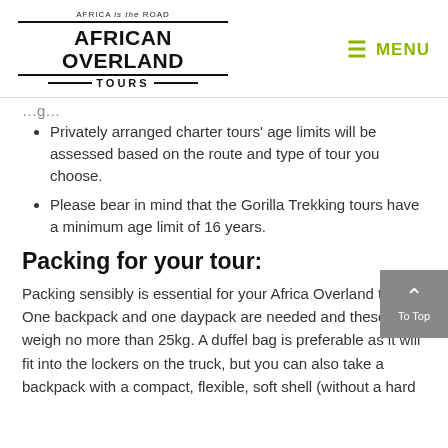[Figure (logo): African Overland Tours logo with 'Africa is the Road' tagline above bold 'AFRICAN OVERLAND TOURS' text]
MENU
Privately arranged charter tours' age limits will be assessed based on the route and type of tour you choose.
Please bear in mind that the Gorilla Trekking tours have a minimum age limit of 16 years.
Packing for your tour:
Packing sensibly is essential for your Africa Overland trip. One backpack and one daypack are needed and these can weigh no more than 25kg. A duffel bag is preferable as it will fit into the lockers on the truck, but you can also take a backpack with a compact, flexible, soft shell (without a hard